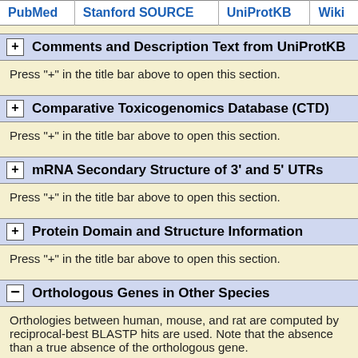| PubMed | Stanford SOURCE | UniProtKB | Wiki… |
| --- | --- | --- | --- |
+ Comments and Description Text from UniProtKB
Press "+" in the title bar above to open this section.
+ Comparative Toxicogenomics Database (CTD)
Press "+" in the title bar above to open this section.
+ mRNA Secondary Structure of 3' and 5' UTRs
Press "+" in the title bar above to open this section.
+ Protein Domain and Structure Information
Press "+" in the title bar above to open this section.
− Orthologous Genes in Other Species
Orthologies between human, mouse, and rat are computed by reciprocal-best BLASTP hits are used. Note that the absence than a true absence of the orthologous gene.